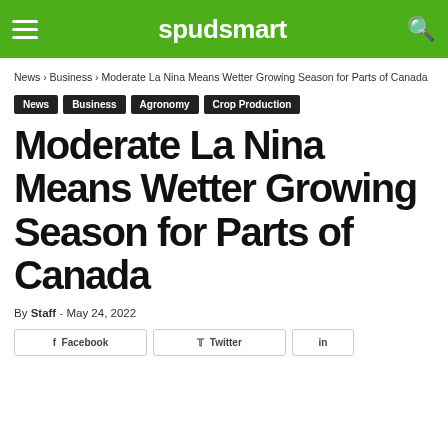spudsmart
News › Business › Moderate La Nina Means Wetter Growing Season for Parts of Canada
News
Business
Agronomy
Crop Production
Moderate La Nina Means Wetter Growing Season for Parts of Canada
By Staff - May 24, 2022